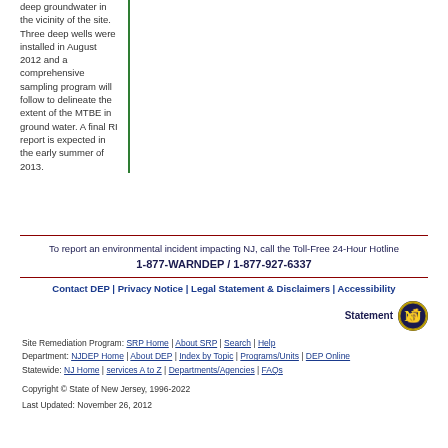deep groundwater in the vicinity of the site. Three deep wells were installed in August 2012 and a comprehensive sampling program will follow to delineate the extent of the MTBE in ground water. A final RI report is expected in the early summer of 2013.
To report an environmental incident impacting NJ, call the Toll-Free 24-Hour Hotline 1-877-WARNDEP / 1-877-927-6337
Contact DEP | Privacy Notice | Legal Statement & Disclaimers | Accessibility Statement
Site Remediation Program: SRP Home | About SRP | Search | Help
Department: NJDEP Home | About DEP | Index by Topic | Programs/Units | DEP Online
Statewide: NJ Home | services A to Z | Departments/Agencies | FAQs
Copyright © State of New Jersey, 1996-2022
Last Updated: November 26, 2012